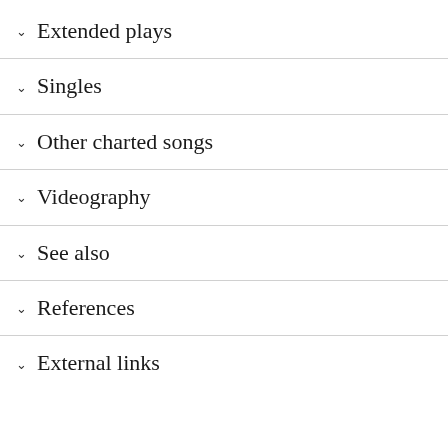Extended plays
Singles
Other charted songs
Videography
See also
References
External links